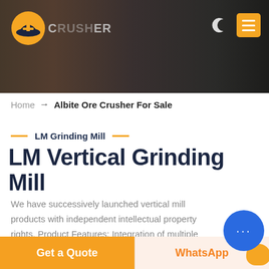[Figure (screenshot): Website header with dark industrial background image showing mining/crushing equipment, orange logo icon on left, site name 'CRUSHER' text, moon icon and orange menu button on right, teal 'LIVE CHAT' speech bubble in lower right corner.]
Home → Albite Ore Crusher For Sale
LM Grinding Mill
LM Vertical Grinding Mill
We have successively launched vertical mill products with independent intellectual property rights. Product Features: Integration of multiple functions, more stable and reliable production and more excellent capacity
Get a Quote
WhatsApp